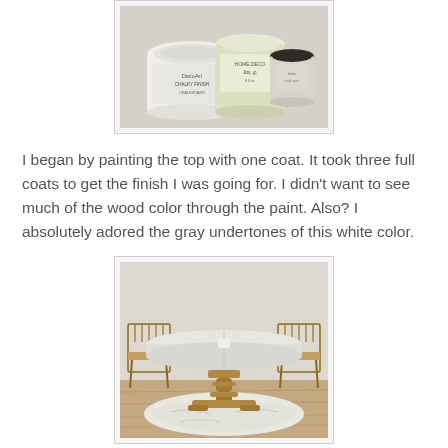[Figure (photo): Three paint jars on a surface: a white chalky finish jar (DecoArt), a light yellow-green Home Decor jar, and a small dark-lidded jar]
I began by painting the top with one coat. It took three full coats to get the finish I was going for. I didn't want to see much of the wood color through the paint. Also? I absolutely adored the gray undertones of this white color.
[Figure (photo): A dining table with white painted top being worked on, with a drop cloth on the floor, and two wooden chairs on either side, in a room with wood floors]